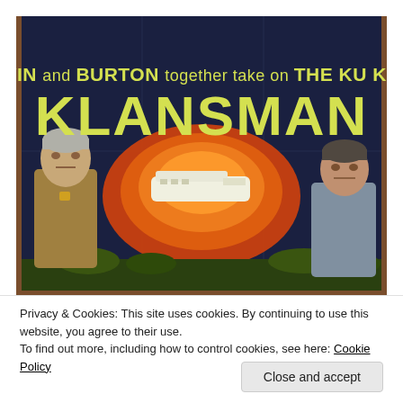[Figure (photo): Movie poster for 'Klansman' featuring yellow-green text on a dark navy background. Text reads 'MARVIN and BURTON together take on THE KU KLUX... KLANSMAN'. Center shows a burning scene with a white boat/bus shape surrounded by orange and red flames. Left side shows a grey-haired man in a tan jacket (Lee Marvin), right side shows another man (Richard Burton). The poster is photographed on what appears to be a wooden surface.]
Privacy & Cookies: This site uses cookies. By continuing to use this website, you agree to their use.
To find out more, including how to control cookies, see here: Cookie Policy